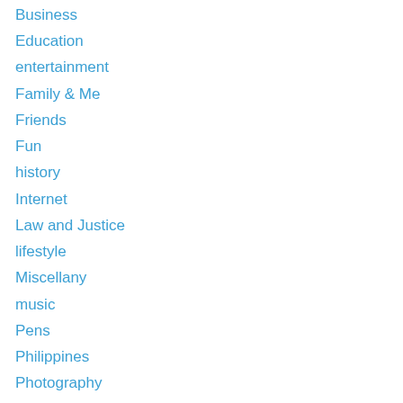Business
Education
entertainment
Family & Me
Friends
Fun
history
Internet
Law and Justice
lifestyle
Miscellany
music
Pens
Philippines
Photography
Pinoys
Politics
religion
Science & Technology
Society